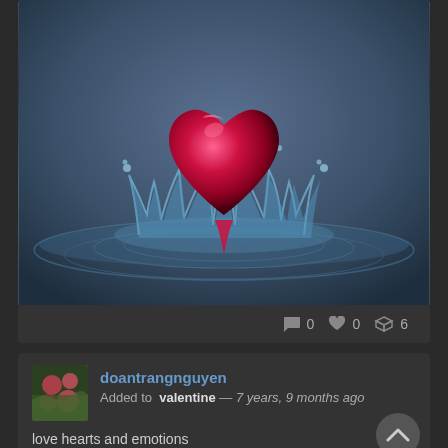[Figure (photo): A glossy red heart-shaped drop of liquid hovering above a water crown splash, set against a dark blue-grey background. Water droplets and ripples surround the impact point.]
💬 0  ♥ 0  ⬡ 6
doantrangnguyen
Added to  valentine — 7 years, 9 months ago
love hearts and emotions